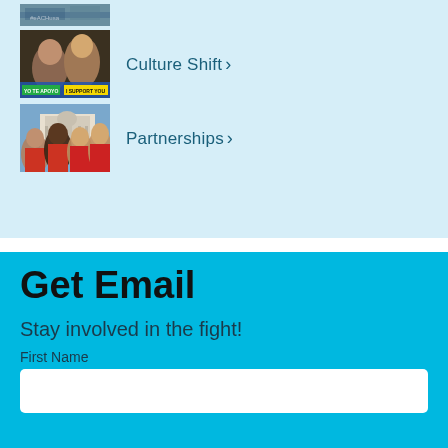[Figure (photo): Partial view of protest/rally photo at top with #EACHUSA sign]
[Figure (photo): Photo of two young people with 'YO TE APOYO / I SUPPORT YOU' text overlay]
Culture Shift›
[Figure (photo): Photo of group of women smiling in front of US Capitol building]
Partnerships›
Get Email
Stay involved in the fight!
First Name